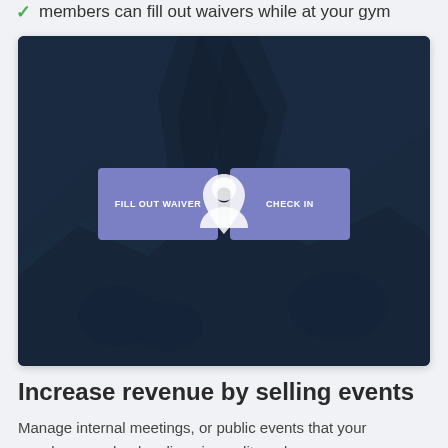members can fill out waivers while at your gym
[Figure (screenshot): Screenshot of a gym check-in app interface showing two buttons: 'FILL OUT WAIVER' and 'CHECK IN' overlaid on a dark blue-tinted photo of rock climbers on a rocky surface.]
Increase revenue by selling events
Manage internal meetings, or public events that your members can book online via credit card.